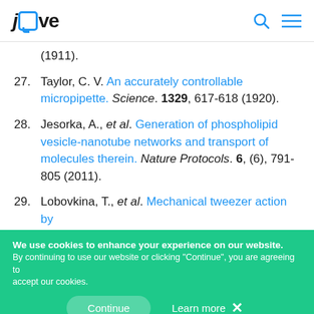JoVE
(1911).
27. Taylor, C. V. An accurately controllable micropipette. Science. 1329, 617-618 (1920).
28. Jesorka, A., et al. Generation of phospholipid vesicle-nanotube networks and transport of molecules therein. Nature Protocols. 6, (6), 791-805 (2011).
29. Lobovkina, T., et al. Mechanical tweezer action by
We use cookies to enhance your experience on our website. By continuing to use our website or clicking "Continue", you are agreeing to accept our cookies. Continue  Learn more  X